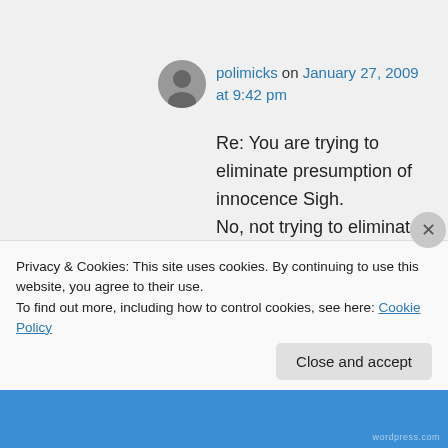polimicks on January 27, 2009 at 9:42 pm
Re: You are trying to eliminate presumption of innocence Sigh.
No, not trying to eliminate presumption of innocence. By assuming that an “Unfounded” accusation means the woman is
Privacy & Cookies: This site uses cookies. By continuing to use this website, you agree to their use.
To find out more, including how to control cookies, see here: Cookie Policy
Close and accept